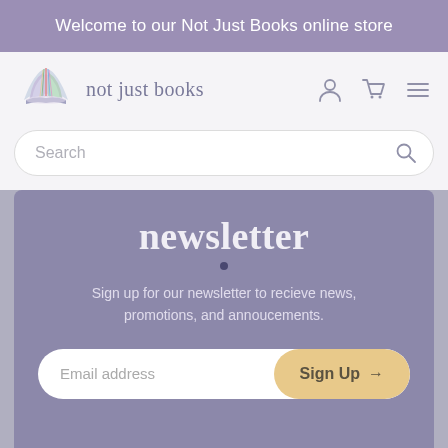Welcome to our Not Just Books online store
[Figure (screenshot): Not Just Books logo: open book with colorful pages, with text 'not just books' beside it, and user/cart/menu icons on the right]
[Figure (screenshot): Search bar with placeholder text 'Search' and a search icon on the right]
newsletter
Sign up for our newsletter to recieve news, promotions, and annoucements.
[Figure (screenshot): Email address input field with Sign Up button]